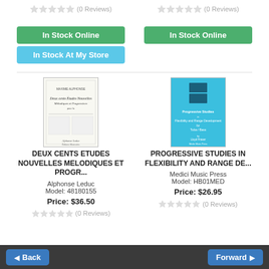(0 Reviews)
(0 Reviews)
In Stock Online
In Stock Online
In Stock At My Store
[Figure (photo): Book cover: Deux Cents Etudes Nouvelles Melodiques et Progressives - white/cream cover with text]
[Figure (photo): Book cover: Progressive Studies in Flexibility and Range Development - blue cover with logo and text]
DEUX CENTS ETUDES NOUVELLES MELODIQUES ET PROGR...
PROGRESSIVE STUDIES IN FLEXIBILITY AND RANGE DE...
Alphonse Leduc
Model: 48180155
Price: $36.50
(0 Reviews)
Medici Music Press
Model: HB01MED
Price: $26.95
(0 Reviews)
Back
Forward